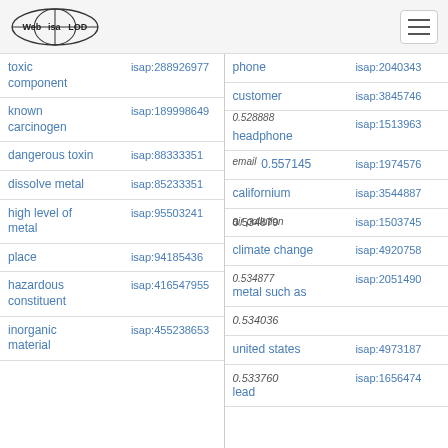Web isa LOD
| Term | ISAP | Term | ISAP |
| --- | --- | --- | --- |
| toxic component | isap:288926977 | phone | isap:2040343 |
|  |  | customer | isap:3845746 |
| known carcinogen | isap:189998649 | headphone | isap:1513963 |
| dangerous toxin | isap:88333351 | email / 0.557145 | isap:1974576 |
| dissolve metal | isap:85233351 | californium | isap:3544887 |
| high level of metal | isap:95503241 | air pollution / 0.534879 | isap:1503745 |
|  |  | climate change | isap:4920758 |
| place | isap:94185436 | 0.534877 / metal such as | isap:2051490 |
| hazardous constituent | isap:416547955 | 0.534036 |  |
|  |  | united states | isap:4973187 |
| inorganic material | isap:455238653 | 0.533760 / lead | isap:1656474 |